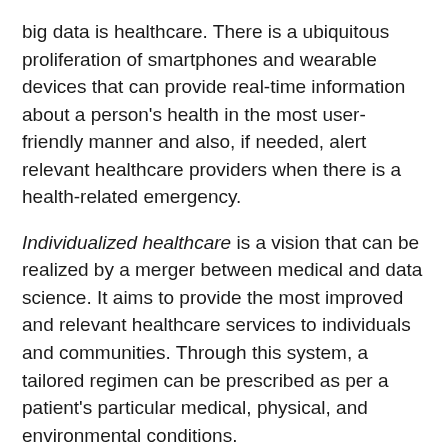big data is healthcare. There is a ubiquitous proliferation of smartphones and wearable devices that can provide real-time information about a person's health in the most user-friendly manner and also, if needed, alert relevant healthcare providers when there is a health-related emergency.
Individualized healthcare is a vision that can be realized by a merger between medical and data science. It aims to provide the most improved and relevant healthcare services to individuals and communities. Through this system, a tailored regimen can be prescribed as per a patient's particular medical, physical, and environmental conditions.
Through individualized healthcare, overdiagnosis can be avoided in which every patient is passed through the rigors of a treatment without considering their individual conditions. An example of the implementation of individualized healthcare is